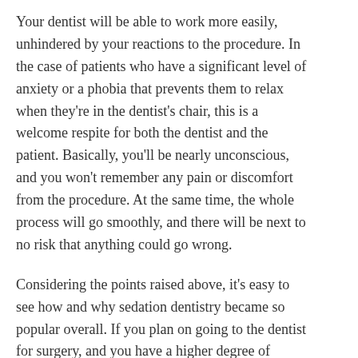Your dentist will be able to work more easily, unhindered by your reactions to the procedure. In the case of patients who have a significant level of anxiety or a phobia that prevents them to relax when they're in the dentist's chair, this is a welcome respite for both the dentist and the patient. Basically, you'll be nearly unconscious, and you won't remember any pain or discomfort from the procedure. At the same time, the whole process will go smoothly, and there will be next to no risk that anything could go wrong.
Considering the points raised above, it's easy to see how and why sedation dentistry became so popular overall. If you plan on going to the dentist for surgery, and you have a higher degree of anxiety about dentists and dental procedures, just make sure you opt for medium or deep sedation, and you'll be all set.
This entry was posted in Health and tagged sedation dentistry on March 24, 2018.